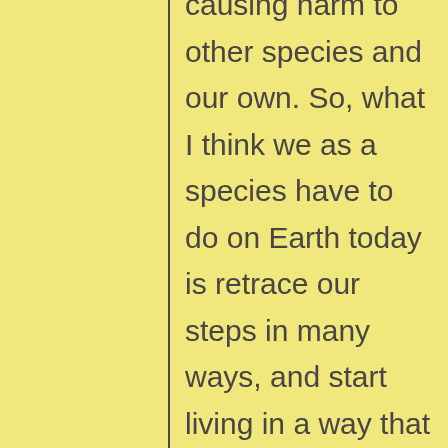causing harm to other species and our own. So, what I think we as a species have to do on Earth today is retrace our steps in many ways, and start living in a way that allows other species to